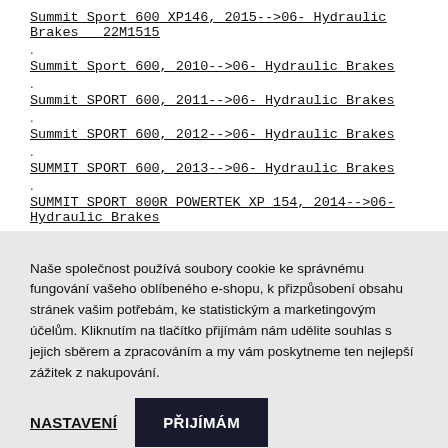Summit Sport 600 XP146, 2015-->06- Hydraulic Brakes   22M1515
Summit Sport 600, 2010-->06- Hydraulic Brakes
Summit SPORT 600, 2011-->06- Hydraulic Brakes
Summit SPORT 600, 2012-->06- Hydraulic Brakes
SUMMIT SPORT 600, 2013-->06- Hydraulic Brakes
SUMMIT SPORT 800R POWERTEK XP 154, 2014-->06- Hydraulic Brakes
Naše společnost používá soubory cookie ke správnému fungování vašeho oblíbeného e-shopu, k přizpůsobení obsahu stránek vašim potřebám, ke statistickým a marketingovým účelům. Kliknutím na tlačítko přijímám nám udělite souhlas s jejich sběrem a zpracováním a my vám poskytneme ten nejlepší zážitek z nakupování.
NASTAVENÍ   PŘIJÍMÁM